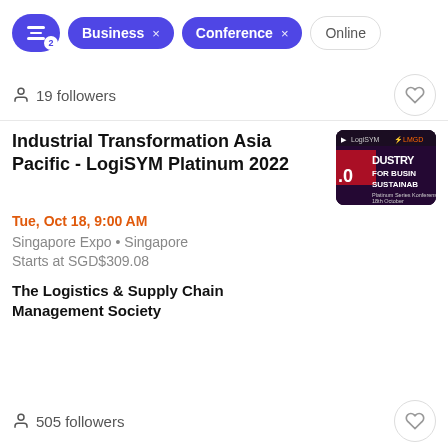Business × Conference × Online
19 followers
Industrial Transformation Asia Pacific - LogiSYM Platinum 2022
Tue, Oct 18, 9:00 AM
Singapore Expo • Singapore
Starts at SGD$309.08
The Logistics & Supply Chain Management Society
505 followers